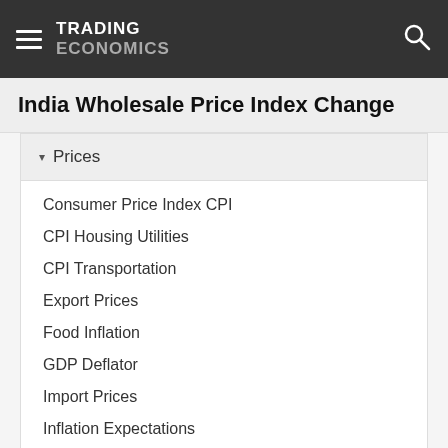TRADING ECONOMICS
India Wholesale Price Index Change
▾ Prices
Consumer Price Index CPI
CPI Housing Utilities
CPI Transportation
Export Prices
Food Inflation
GDP Deflator
Import Prices
Inflation Expectations
Inflation Rate
Inflation Rate MoM
Producer Price Inflation MoM
Producer Prices
Producer Prices Change